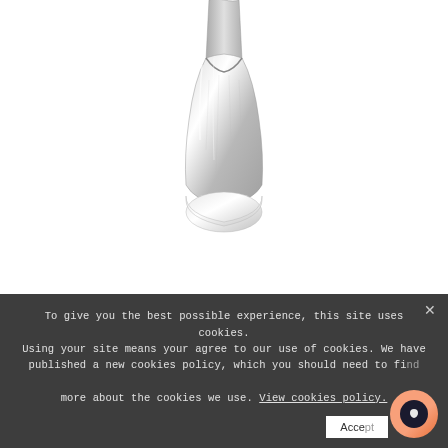[Figure (photo): Close-up photo of a silver/metallic ballet pointe shoe pendant, viewed from the front/top, showing the satin toe box and ribbon details in silver metallic finish against a white background.]
Pendant Pointe Shoe
€57.50
Add To Cart
To give you the best possible experience, this site uses cookies. Using your site means your agree to our use of cookies. We have published a new cookies policy, which you should need to find more about the cookies we use. View cookies policy.